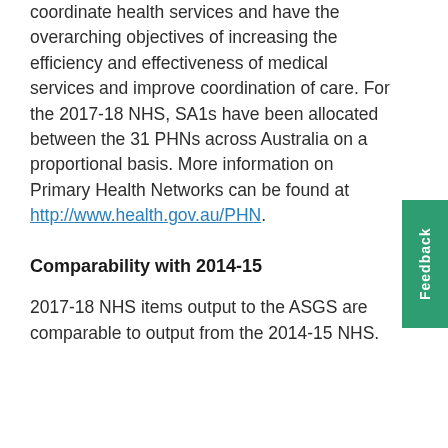coordinate health services and have the overarching objectives of increasing the efficiency and effectiveness of medical services and improve coordination of care. For the 2017-18 NHS, SA1s have been allocated between the 31 PHNs across Australia on a proportional basis. More information on Primary Health Networks can be found at http://www.health.gov.au/PHN.
Comparability with 2014-15
2017-18 NHS items output to the ASGS are comparable to output from the 2014-15 NHS.